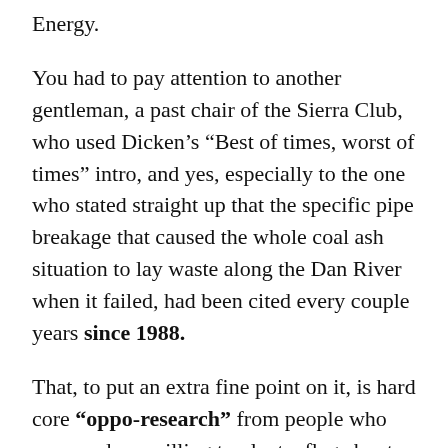Energy.
You had to pay attention to another gentleman, a past chair of the Sierra Club, who used Dicken’s “Best of times, worst of times” intro, and yes, especially to the one who stated straight up that the specific pipe breakage that caused the whole coal ash situation to lay waste along the Dan River when it failed, had been cited every couple years since 1988.
That, to put an extra fine point on it, is hard core “oppo-research” from people who care, and are willing to plant a flag about it. The behavior analysis looked like 100% against the rate